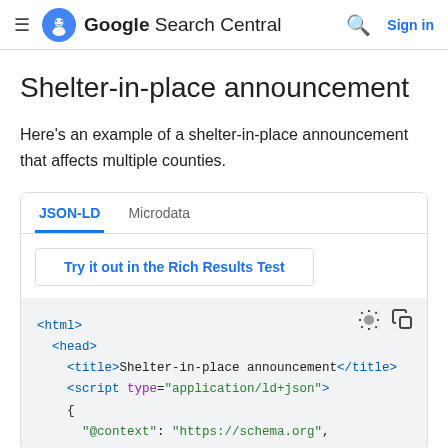Google Search Central — Sign in
Shelter-in-place announcement
Here's an example of a shelter-in-place announcement that affects multiple counties.
JSON-LD tab selected; Microdata tab also available. Button: Try it out in the Rich Results Test
<html>
  <head>
    <title>Shelter-in-place announcement</title>
    <script type="application/ld+json">
    {
      "@context": "https://schema.org",